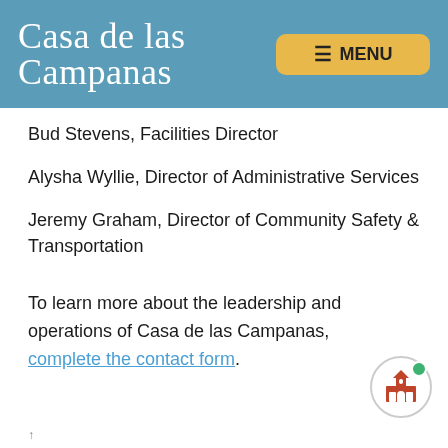Casa de las Campanas
Bud Stevens, Facilities Director
Alysha Wyllie, Director of Administrative Services
Jeremy Graham, Director of Community Safety & Transportation
To learn more about the leadership and operations of Casa de las Campanas, complete the contact form.
↑